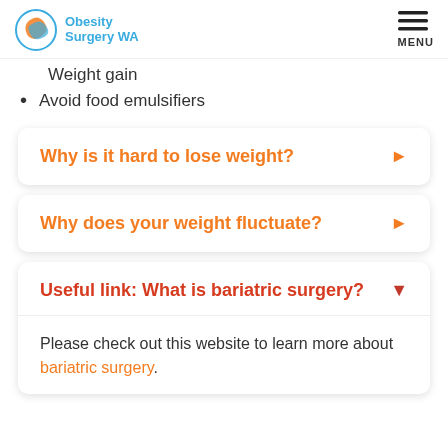Obesity Surgery WA — MENU
Weight gain
Avoid food emulsifiers
Why is it hard to lose weight?
Why does your weight fluctuate?
Useful link: What is bariatric surgery?
Please check out this website to learn more about bariatric surgery.